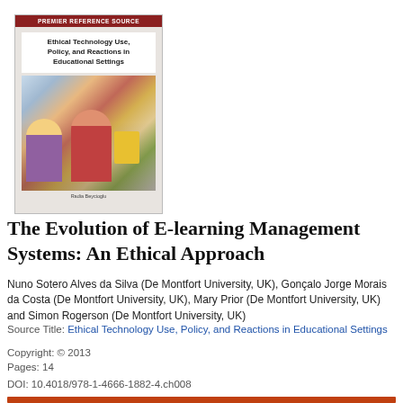[Figure (illustration): Book cover for 'Ethical Technology Use, Policy, and Reactions in Educational Settings' with a red header bar reading 'PREMIER REFERENCE SOURCE', bold title text, and a photograph of students in a classroom setting. Author name at bottom: Radia Beycioglu.]
The Evolution of E-learning Management Systems: An Ethical Approach
Nuno Sotero Alves da Silva (De Montfort University, UK), Gonçalo Jorge Morais da Costa (De Montfort University, UK), Mary Prior (De Montfort University, UK) and Simon Rogerson (De Montfort University, UK)
Source Title: Ethical Technology Use, Policy, and Reactions in Educational Settings
Copyright: © 2013
Pages: 14
DOI: 10.4018/978-1-4666-1882-4.ch008